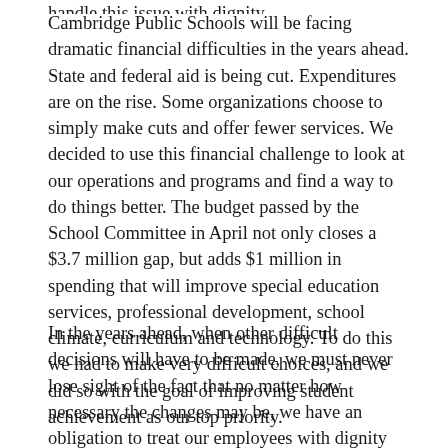handle this issue with dignity.
Cambridge Public Schools will be facing dramatic financial difficulties in the years ahead. State and federal aid is being cut. Expenditures are on the rise. Some organizations choose to simply make cuts and offer fewer services. We decided to use this financial challenge to look at our operations and programs and find a way to do things better. The budget passed by the School Committee in April not only closes a $3.7 million gap, but adds $1 million in spending that will improve special education services, professional development, school climate, curriculum and technology. To do this we had to make very difficult choices, and we did so with the goal of improving student achievement as our top priority.
In the years ahead, when other difficult decisions will have to be made, we must never lose sight of the fact that no matter how necessary the changes may be, we have an obligation to treat our employees with dignity and respect. We must be better than large, private corporations that often see people as numbers on a